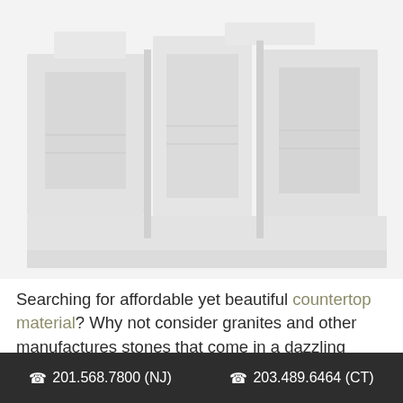[Figure (photo): Faded/light photograph of a kitchen or countertop showroom interior with various stone slab displays visible]
Searching for affordable yet beautiful countertop material? Why not consider granites and other manufactures stones that come in a dazzling array
📞 201.568.7800 (NJ)   📞 203.489.6464 (CT)